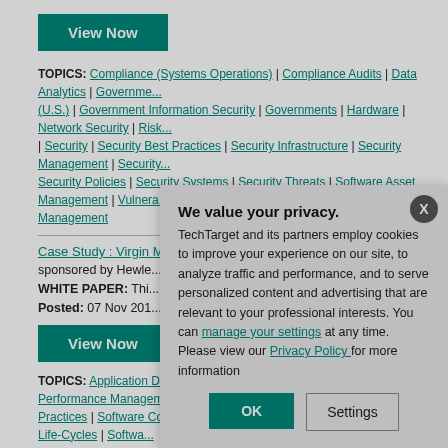View Now
TOPICS: Compliance (Systems Operations) | Compliance Audits | Data Analytics | Government (U.S.) | Government Information Security | Governments | Hardware | Network Security | Risk | Security | Security Best Practices | Security Infrastructure | Security Management | Security Policies | Security Systems | Security Threats | Software Asset Management | Vulnerability Management
Case Study : Virgin M...
sponsored by Hewle... WHITE PAPER: This... transparent, efficient... increase quality.
Posted: 07 Nov 201...
View Now
TOPICS: Application De... Services | Application Li... Performance Manageme... Practices | Software Configuration Management | Software Development Life-Cycles | Software Development Methodologies | Software Development Tools | Software Project Management
We value your privacy. TechTarget and its partners employ cookies to improve your experience on our site, to analyze traffic and performance, and to serve personalized content and advertising that are relevant to your professional interests. You can manage your settings at any time. Please view our Privacy Policy for more information
OK
Settings